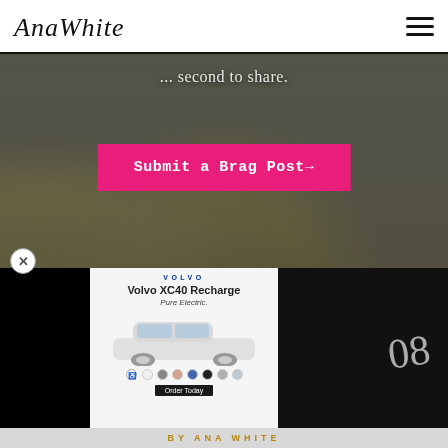AnaWhite
second to share.
Submit a Brag Post→
[Figure (screenshot): Volvo XC40 Recharge Pure Electric advertisement card overlaid on a dark background with woodworking tools visible beneath]
BY ANA WHITE